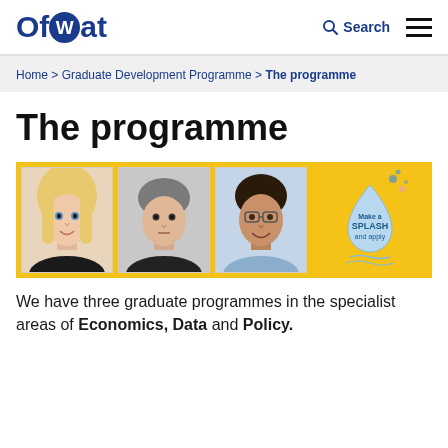Ofwat | Search
Home > Graduate Development Programme > The programme
The programme
[Figure (photo): Banner image on yellow background showing three portrait photos of graduates and a 'Make a SPLASH and apply' water drop graphic]
We have three graduate programmes in the specialist areas of Economics, Data and Policy.